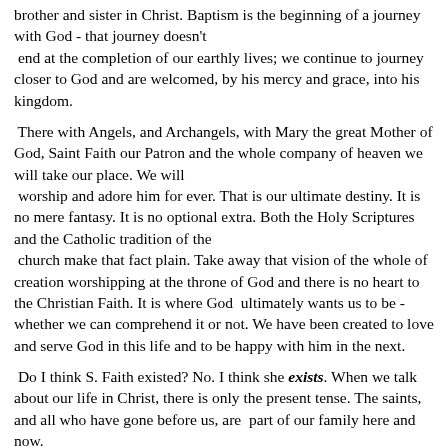brother and sister in Christ. Baptism is the beginning of a journey with God - that journey doesn't end at the completion of our earthly lives; we continue to journey closer to God and are welcomed, by his mercy and grace, into his kingdom.
There with Angels, and Archangels, with Mary the great Mother of God, Saint Faith our Patron and the whole company of heaven we will take our place. We will worship and adore him for ever. That is our ultimate destiny. It is no mere fantasy. It is no optional extra. Both the Holy Scriptures and the Catholic tradition of the church make that fact plain. Take away that vision of the whole of creation worshipping at the throne of God and there is no heart to the Christian Faith. It is where God  ultimately wants us to be - whether we can comprehend it or not. We have been created to love and serve God in this life and to be happy with him in the next.
Do I think S. Faith existed? No. I think she exists. When we talk about our life in Christ, there is only the present tense. The saints, and all who have gone before us, are  part of our family here and now.
I spoke of Mary being named 'Theotokos'. Whilst running this